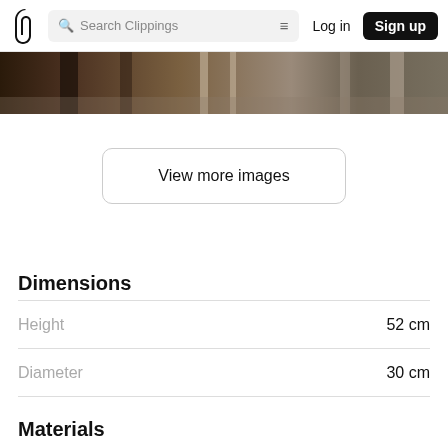Search Clippings | Log in | Sign up
[Figure (photo): Partial bottom of a product photo showing furniture legs on a wooden floor, dark and warm tones]
View more images
Dimensions
| Property | Value |
| --- | --- |
| Height | 52 cm |
| Diameter | 30 cm |
Materials